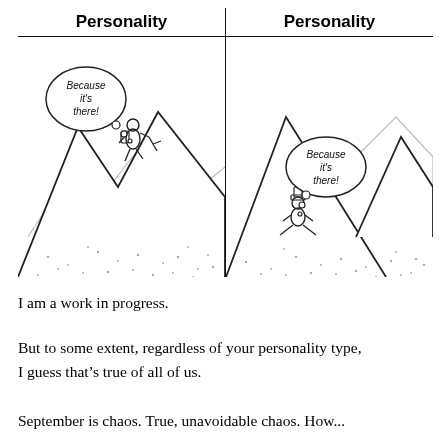[Figure (illustration): Two-panel comic strip comparing personality types. Left panel: a mountain climber scaling a steep mountain peak with a thought bubble saying 'Because it's there!'. Right panel: a person sitting at the base of a mountain with a thought bubble also saying 'Because it's there!' but not climbing.]
| Personality | Personality |
| --- | --- |
| [left comic panel - climber on mountain] | [right comic panel - person sitting at base] |
I am a work in progress.
But to some extent, regardless of your personality type, I guess that’s true of all of us.
September is chaos. True, unavoidable chaos. How...